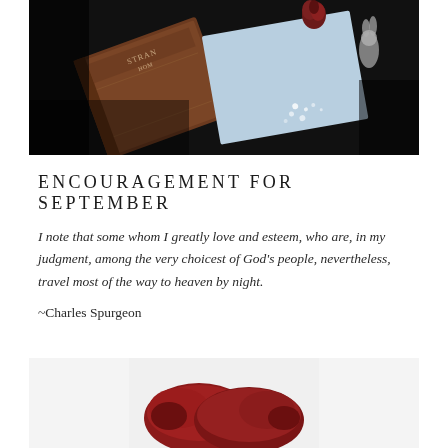[Figure (photo): Dark overhead photo of a brown embossed hardcover book (appears to say 'Stranger' on cover) next to a blue paper/card with small white flecks, a dark red rose bud, and a small figurine, all on a dark background.]
ENCOURAGEMENT FOR SEPTEMBER
I note that some whom I greatly love and esteem, who are, in my judgment, among the very choicest of God's people, nevertheless, travel most of the way to heaven by night.
~Charles Spurgeon
[Figure (photo): Partial overhead photo showing red/dark shoes or slippers visible at the bottom of the frame on a white background.]